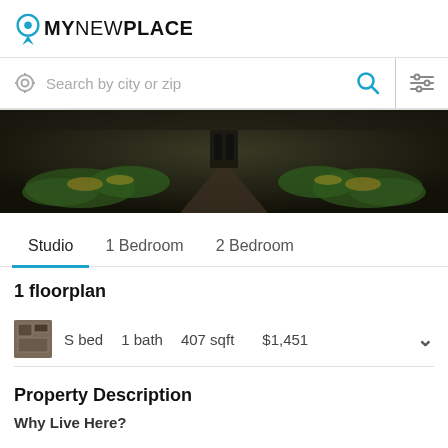[Figure (logo): MyNewPlace logo with location pin icon]
Search by city or zip
[Figure (photo): Dark panoramic exterior photo of a building entrance with garden path and shrubbery]
Studio  1 Bedroom  2 Bedroom
1 floorplan
S bed  1 bath  407 sqft  $1,451
Property Description
Why Live Here?